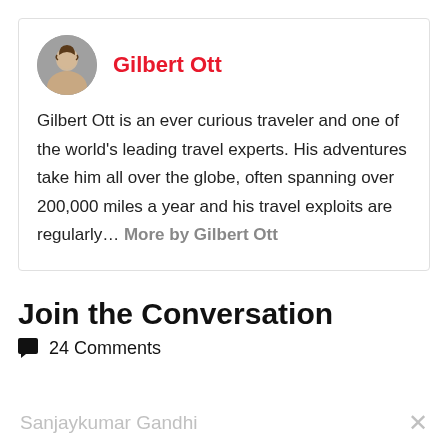[Figure (photo): Circular profile photo of Gilbert Ott, a smiling man]
Gilbert Ott
Gilbert Ott is an ever curious traveler and one of the world's leading travel experts. His adventures take him all over the globe, often spanning over 200,000 miles a year and his travel exploits are regularly… More by Gilbert Ott
Join the Conversation
24 Comments
Sanjaykumar Gandhi